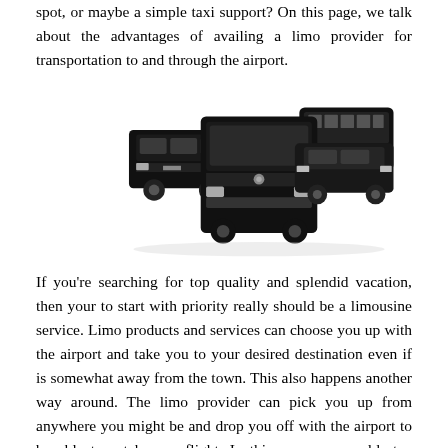spot, or maybe a simple taxi support? On this page, we talk about the advantages of availing a limo provider for transportation to and through the airport.
[Figure (photo): A fleet of black luxury vehicles including SUVs, a Mercedes Sprinter van, a sedan, and a large coach bus, arranged in a group facing the camera.]
If you’re searching for top quality and splendid vacation, then your to start with priority really should be a limousine service. Limo products and services can choose you up with the airport and take you to your desired destination even if is somewhat away from the town. This also happens another way around. The limo provider can pick you up from anywhere you might be and drop you off with the airport to be able to catch your flight. In this way, you could stay away from the inconveniences of driving in the city on your own and